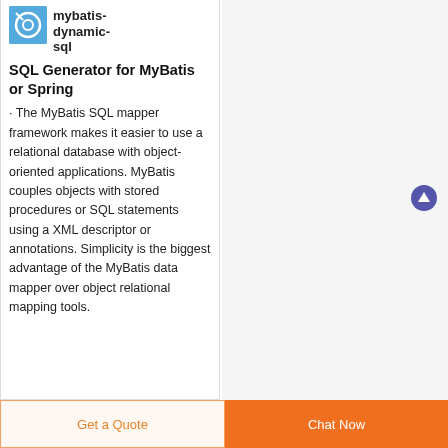[Figure (logo): Blue circular logo icon for mybatis-dynamic-sql]
mybatis-dynamic-sqlSQL Generator for MyBatis or Spring
· The MyBatis SQL mapper framework makes it easier to use a relational database with object-oriented applications. MyBatis couples objects with stored procedures or SQL statements using a XML descriptor or annotations. Simplicity is the biggest advantage of the MyBatis data mapper over object relational mapping tools.
[Figure (other): Purple circular scroll-to-top arrow button]
Get a Quote
Chat Now